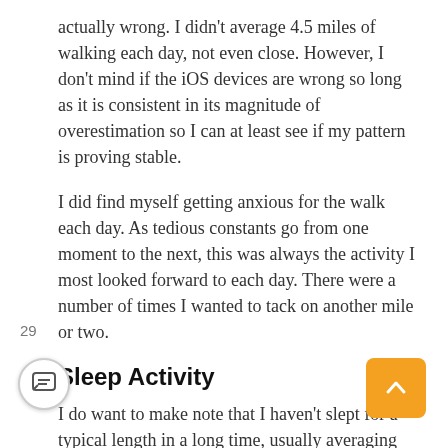actually wrong. I didn't average 4.5 miles of walking each day, not even close. However, I don't mind if the iOS devices are wrong so long as it is consistent in its magnitude of overestimation so I can at least see if my pattern is proving stable.
I did find myself getting anxious for the walk each day. As tedious constants go from one moment to the next, this was always the activity I most looked forward to each day. There were a number of times I wanted to tack on another mile or two.
Sleep Activity
I do want to make note that I haven't slept for a typical length in a long time, usually averaging five to six hours a night for the last half a year or so. This was true throughout this experiment as well. The only excep was the very last night when it was over and I managed to knock out seven hours. (Probably not a coincidence)